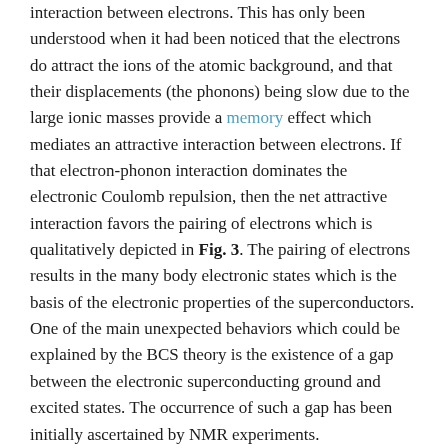interaction between electrons. This has only been understood when it had been noticed that the electrons do attract the ions of the atomic background, and that their displacements (the phonons) being slow due to the large ionic masses provide a memory effect which mediates an attractive interaction between electrons. If that electron-phonon interaction dominates the electronic Coulomb repulsion, then the net attractive interaction favors the pairing of electrons which is qualitatively depicted in Fig. 3. The pairing of electrons results in the many body electronic states which is the basis of the electronic properties of the superconductors. One of the main unexpected behaviors which could be explained by the BCS theory is the existence of a gap between the electronic superconducting ground and excited states. The occurrence of such a gap has been initially ascertained by NMR experiments.
From Mott Insulators to Metallic Magnetism and Superconductivity
We have examined so far two completely different limiting descriptions of electronic states in a solid. In the band structure approach we have described the case of electrons considered as